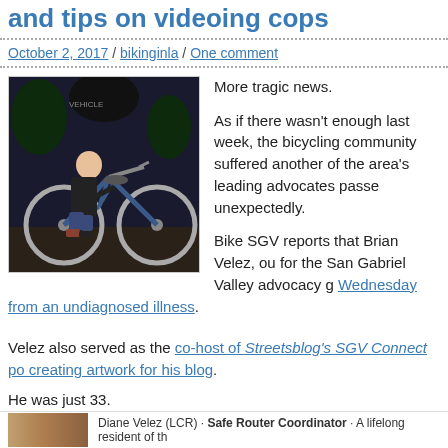and tips on videoing cops
October 2, 2017 / bikinginla / One comment
[Figure (photo): Man kneeling next to a bicycle outdoors at night]
More tragic news.

As if there wasn't enough last week, the bicycling community suffered another of the area's leading advocates passed unexpectedly.

Bike SGV reports that Brian Velez, our for the San Gabriel Valley advocacy g Wednesday from an undiagnosed illness.
Velez also served as the co-host of Streetsblog's SGV Connect po creating artwork for his blog.
He was just 33.
He is survived by his parents and his sister Diane, who worked with Routes coordinator for Bike SGV.
Diane Velez (LCR) · Safe Router Coordinator · A lifelong resident of th